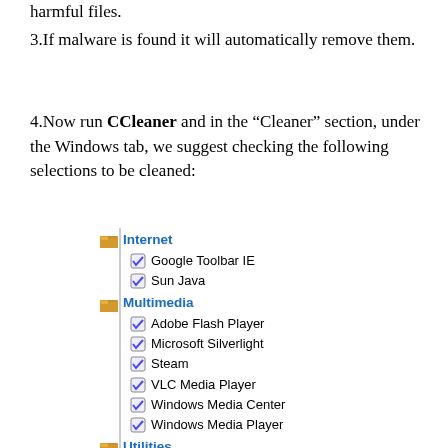harmful files.
3.If malware is found it will automatically remove them.
4.Now run CCleaner and in the “Cleaner” section, under the Windows tab, we suggest checking the following selections to be cleaned:
[Figure (screenshot): CCleaner application tree view showing checkboxes for Internet (Google Toolbar IE, Sun Java), Multimedia (Adobe Flash Player, Microsoft Silverlight, Steam, VLC Media Player, Windows Media Center, Windows Media Player), Utilities (Adobe Air, Windows Defender, WinRAR), and Windows (Game Explorer) categories with folder icons and checkboxes checked.]